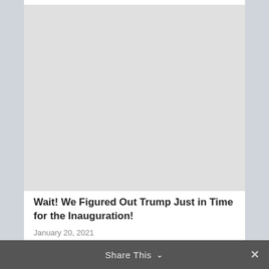[Figure (photo): Large light gray placeholder image area at the top of a web article card]
Wait! We Figured Out Trump Just in Time for the Inauguration!
January 20, 2021
Share This ∨  ✕